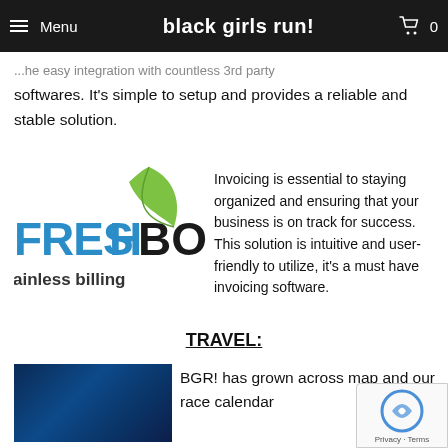Menu  black girls run!  0
softwares. It’s simple to setup and provides a reliable and stable solution.
[Figure (logo): FreshBooks logo with green leaf, blue FRESH and black BOOKS text, tagline: painless billing]
Invoicing is essential to staying organized and ensuring that your business is on track for success. This solution is intuitive and user-friendly to utilize, it’s a must have invoicing software.
TRAVEL:
[Figure (photo): Dark blue photo, appears to show a running or outdoor scene]
BGR! has grown across map and our race calendar